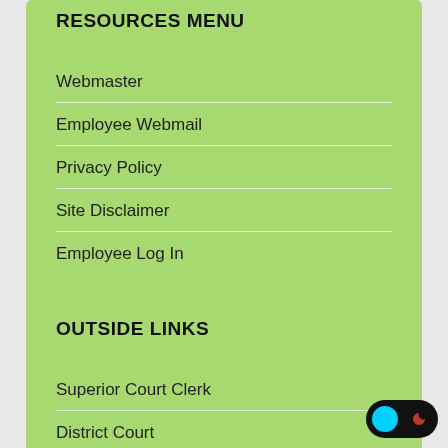RESOURCES MENU
Webmaster
Employee Webmail
Privacy Policy
Site Disclaimer
Employee Log In
OUTSIDE LINKS
Superior Court Clerk
District Court